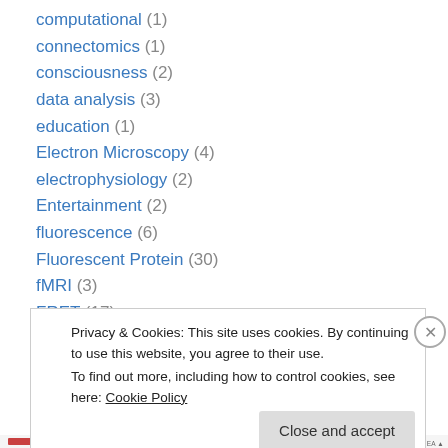computational (1)
connectomics (1)
consciousness (2)
data analysis (3)
education (1)
Electron Microscopy (4)
electrophysiology (2)
Entertainment (2)
fluorescence (6)
Fluorescent Protein (30)
fMRI (3)
FRET (17)
Fun (7)
Privacy & Cookies: This site uses cookies. By continuing to use this website, you agree to their use. To find out more, including how to control cookies, see here: Cookie Policy
Close and accept